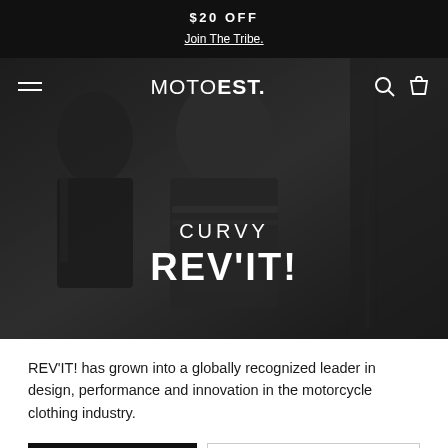$20 OFF
Join The Tribe.
[Figure (screenshot): Hero image of two people wearing motorcycle leather jackets, dark/moody lighting with a dark overlay. Navigation bar at top with hamburger menu, MOTOEST. logo, search and cart icons. Centered text reads 'CURVY REV'IT!' in white.]
REV'IT! has grown into a globally recognized leader in design, performance and innovation in the motorcycle clothing industry.
Filter (1)
Best selling